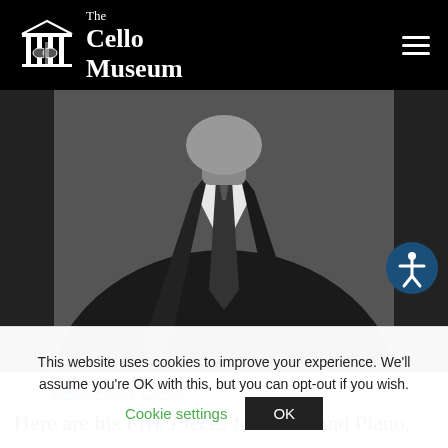The Cello Museum
[Figure (photo): Black and white photograph of a man in a suit and tie, cropped at chest level, 1948. Photo by Unknown Artist.]
Photo by Unknown Artist, 1948.
Immediate source, Fair use.
Here are his Five Pieces for Cello and Piano,
This website uses cookies to improve your experience. We'll assume you're OK with this, but you can opt-out if you wish.
Cookie settings | OK